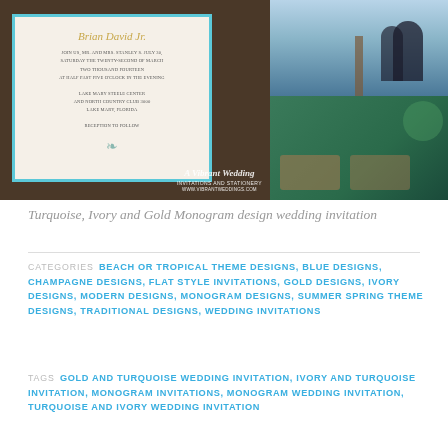[Figure (photo): Photo collage showing a wedding invitation with turquoise border and gold script text on the left, an RSVP card in the center-dark background area, a couple silhouetted on a dock on the top right, and a turquoise waterfront reception setup on the bottom right. A Vibrant Wedding watermark logo is visible.]
Turquoise, Ivory and Gold Monogram design wedding invitation
CATEGORIES  BEACH OR TROPICAL THEME DESIGNS, BLUE DESIGNS, CHAMPAGNE DESIGNS, FLAT STYLE INVITATIONS, GOLD DESIGNS, IVORY DESIGNS, MODERN DESIGNS, MONOGRAM DESIGNS, SUMMER SPRING THEME DESIGNS, TRADITIONAL DESIGNS, WEDDING INVITATIONS
TAGS  GOLD AND TURQUOISE WEDDING INVITATION, IVORY AND TURQUOISE INVITATION, MONOGRAM INVITATIONS, MONOGRAM WEDDING INVITATION, TURQUOISE AND IVORY WEDDING INVITATION